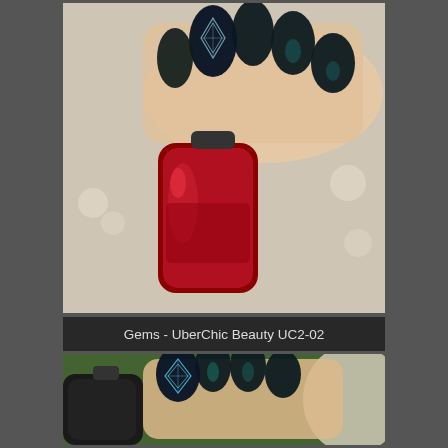[Figure (photo): Close-up photo of a hand holding a red glittery nail polish bottle (China Glaze brand). The nails are painted dark black/teal with one accent nail featuring a blue geometric gem/diamond stamping pattern on a dark background. The hand rests on a white fluffy textured surface.]
Gems - UberChic Beauty UC2-02
[Figure (photo): Close-up photo showing a hand from a different angle. Nails are dark black/teal with one accent nail showing a teal and blue geometric diamond/gem stamping design. A dark nail polish bottle is partially visible. The background shows green grass and a white fluffy surface.]